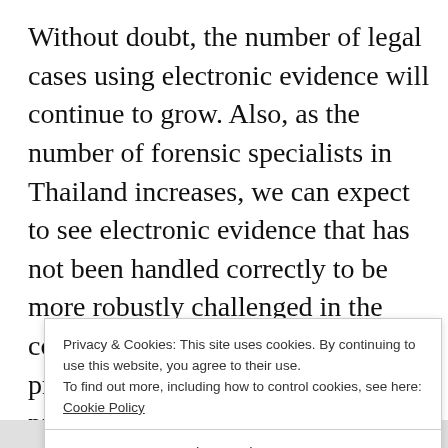Without doubt, the number of legal cases using electronic evidence will continue to grow. Also, as the number of forensic specialists in Thailand increases, we can expect to see electronic evidence that has not been handled correctly to be more robustly challenged in the court. If you are involved in legal proceedings where the other side is presenting digital evidence, you should
Privacy & Cookies: This site uses cookies. By continuing to use this website, you agree to their use. To find out more, including how to control cookies, see here: Cookie Policy
Close and accept